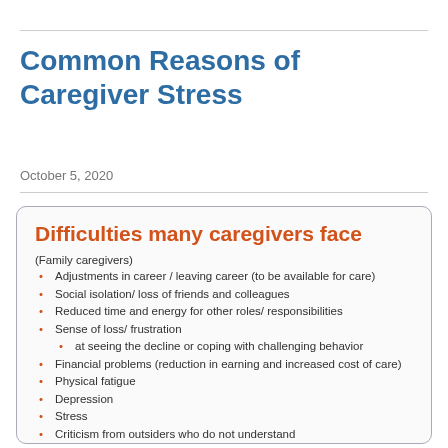Common Reasons of Caregiver Stress
October 5, 2020
Difficulties many caregivers face
(Family caregivers)
Adjustments in career / leaving career (to be available for care)
Social isolation/ loss of friends and colleagues
Reduced time and energy for other roles/ responsibilities
Sense of loss/ frustration
at seeing the decline or coping with challenging behavior
Financial problems (reduction in earning and increased cost of care)
Physical fatigue
Depression
Stress
Criticism from outsiders who do not understand